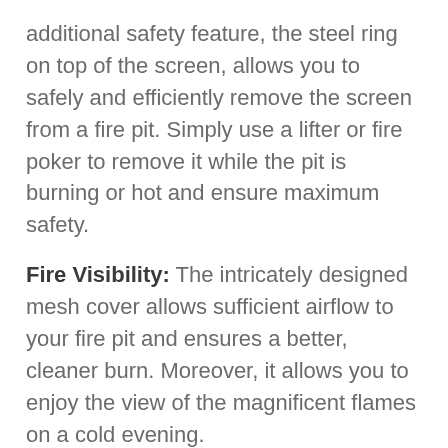additional safety feature, the steel ring on top of the screen, allows you to safely and efficiently remove the screen from a fire pit. Simply use a lifter or fire poker to remove it while the pit is burning or hot and ensure maximum safety.
Fire Visibility: The intricately designed mesh cover allows sufficient airflow to your fire pit and ensures a better, cleaner burn. Moreover, it allows you to enjoy the view of the magnificent flames on a cold evening.
Super Lightweight: It comes with dimensions of 36 x 36 x 7.5 inches with a weight of 0.07...